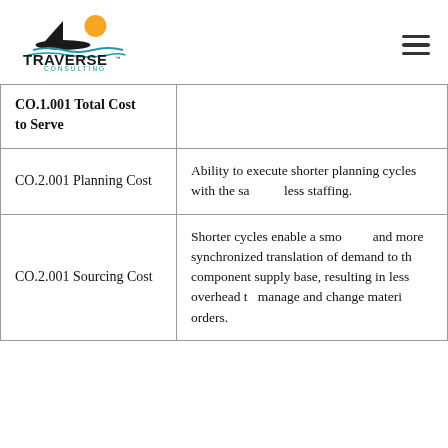[Figure (logo): Traverse Consulting logo with sun and water graphic above the text 'TRAVERSE CONSULTING']
| CO.1.001 Total Cost to Serve |  |
| CO.2.001 Planning Cost | Ability to execute shorter planning cycles with the same or less staffing. |
| CO.2.001 Sourcing Cost | Shorter cycles enable a smoother and more synchronized translation of demand to the component supply base, resulting in less overhead to manage and change material orders. |